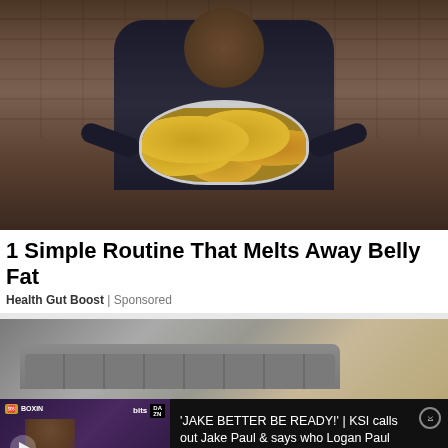[Figure (photo): Person holding a large pot/bowl filled with lemon slices in a kitchen setting]
1 Simple Routine That Melts Away Belly Fat
Health Gut Boost | Sponsored
[Figure (photo): Second advertisement image showing a sofa/furniture product]
[Figure (screenshot): Video overlay: KSI boxing press conference thumbnail with logos MF BOXING, bits, DAZN, PRIME. Text: 'JAKE BETTER BE READY!' | KSI calls out Jake Paul & says who Logan Paul is]
[Figure (infographic): Social sharing bar with Facebook, Twitter, comment (0), like (0) buttons]